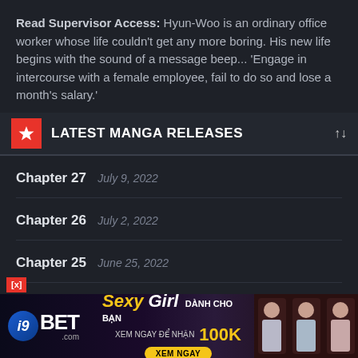Read Supervisor Access: Hyun-Woo is an ordinary office worker whose life couldn't get any more boring. His new life begins with the sound of a message beep... 'Engage in intercourse with a female employee, fail to do so and lose a month's salary.'
LATEST MANGA RELEASES
Chapter 27  July 9, 2022
Chapter 26  July 2, 2022
Chapter 25  June 25, 2022
[Figure (infographic): Advertisement banner for i9BET.com gambling site with 'Sexy Girl DANH CHO BAN XEM NGAY DE NHAN 100K XEM NGAY' text and images of women]